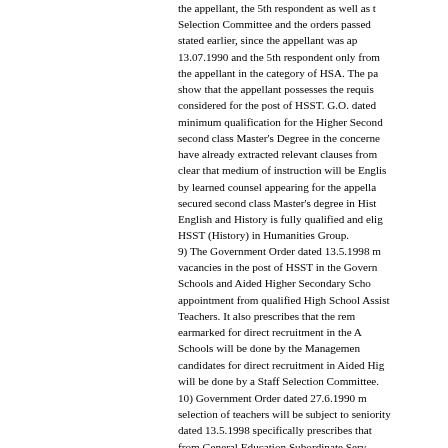the appellant, the 5th respondent as well as the Selection Committee and the orders passed stated earlier, since the appellant was appointed 13.07.1990 and the 5th respondent only from the appellant in the category of HSA. The party show that the appellant possesses the requisite considered for the post of HSST. G.O. dated minimum qualification for the Higher Secondary second class Master's Degree in the concerned have already extracted relevant clauses from clear that medium of instruction will be English by learned counsel appearing for the appellant secured second class Master's degree in History English and History is fully qualified and eligible HSST (History) in Humanities Group.
9) The Government Order dated 13.5.1998 vacancies in the post of HSST in the Government Schools and Aided Higher Secondary Schools appointment from qualified High School Assistants Teachers. It also prescribes that the remaining earmarked for direct recruitment in the Aided Schools will be done by the Management candidates for direct recruitment in Aided Higher will be done by a Staff Selection Committee.
10) Government Order dated 27.6.1990 selection of teachers will be subject to seniority dated 13.5.1998 specifically prescribes that from General Education Subordinate Service